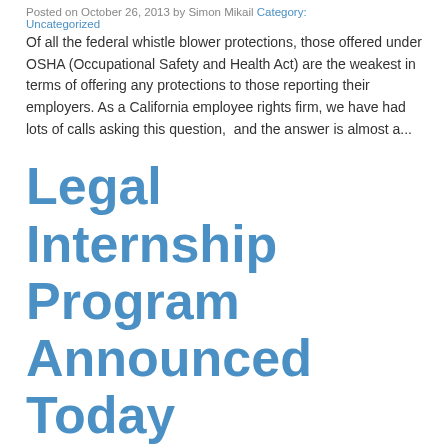Posted on October 26, 2013 by Simon Mikail Category: Uncategorized
Of all the federal whistle blower protections, those offered under OSHA (Occupational Safety and Health Act) are the weakest in terms of offering any protections to those reporting their employers. As a California employee rights firm, we have had lots of calls asking this question,  and the answer is almost a...
Legal Internship Program Announced Today
Posted on October 22, 2013 by Simon Mikail Category: Uncategorized
Stephen Danz & Associates has announced the opening of its 2013-2014 legal intern's program. Unlike most internships, law students from throughout California will be eligible to being their internship on a "rolling" calendar basis, and not be limited to just the traditional summer months. Students will be a...